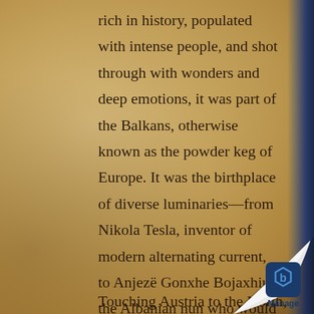rich in history, populated with intense people, and shot through with wonders and deep emotions, it was part of the Balkans, otherwise known as the powder keg of Europe. It was the birthplace of diverse luminaries—from Nikola Tesla, inventor of modern alternating current, to Anjezë Gonxhe Bojaxhiu, the Albanian nun who would become Mother Teresa, to top tennis star Novak Djokovic.
Touching Austria to the North, Ital